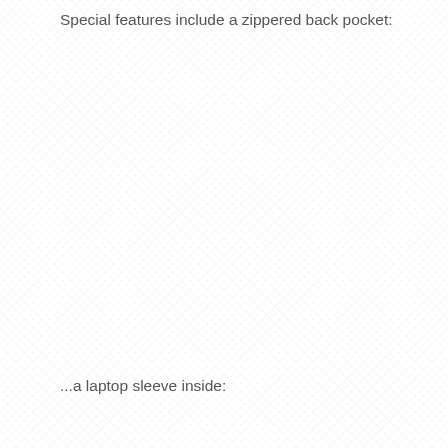Special features include a zippered back pocket:
...a laptop sleeve inside: